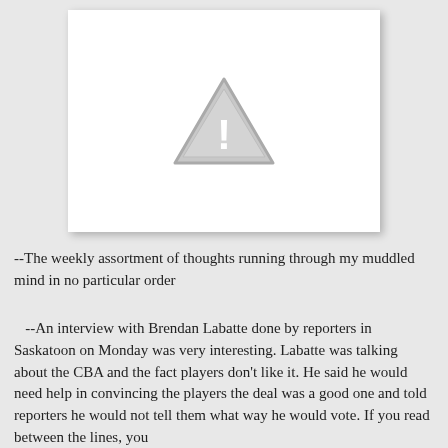[Figure (other): White box with a gray warning triangle (exclamation mark) icon indicating a broken or unavailable image placeholder.]
--The weekly assortment of thoughts running through my muddled mind in no particular order
--An interview with Brendan Labatte done by reporters in Saskatoon on Monday was very interesting. Labatte was talking about the CBA and the fact players don't like it. He said he would need help in convincing the players the deal was a good one and told reporters he would not tell them what way he would vote. If you read between the lines, you